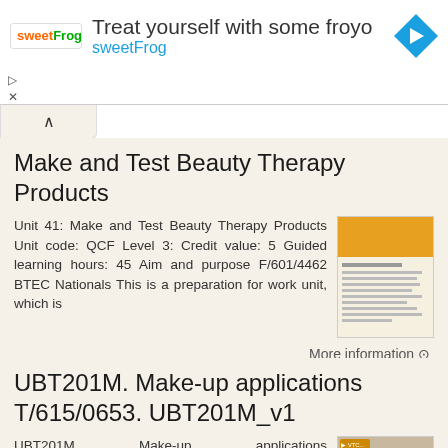[Figure (other): Advertisement banner for sweetFrog frozen yogurt with logo, heading 'Treat yourself with some froyo', subtext 'sweetFrog', and a navigation arrow icon]
Make and Test Beauty Therapy Products
Unit 41: Make and Test Beauty Therapy Products Unit code: QCF Level 3: Credit value: 5 Guided learning hours: 45 Aim and purpose F/601/4462 BTEC Nationals This is a preparation for work unit, which is
More information →
UBT201M. Make-up applications T/615/0653. UBT201M_v1
UBT201M Make-up applications T/615/0653 UBT201M_v1 Service portfolio Learners must: Produce a service portfolio